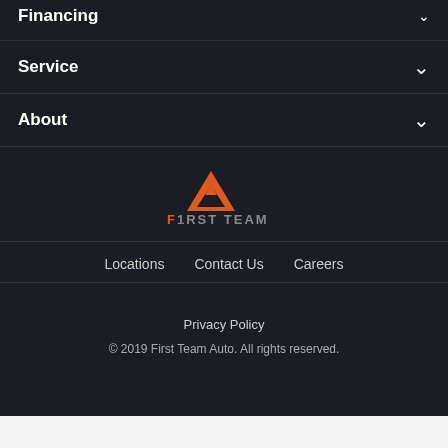Financing ∨
Service ∨
About ∨
[Figure (logo): First Team Auto logo with orange triangle/mountain icon and text F1RST TEAM]
Locations   Contact Us   Careers
Privacy Policy
© 2019 First Team Auto. All rights reserved.